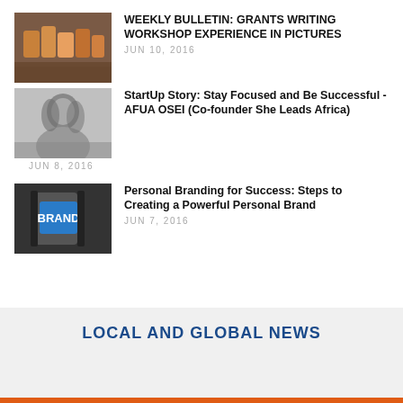WEEKLY BULLETIN: GRANTS WRITING WORKSHOP EXPERIENCE IN PICTURES
JUN 10, 2016
StartUp Story: Stay Focused and Be Successful - AFUA OSEI (Co-founder She Leads Africa)
JUN 8, 2016
Personal Branding for Success: Steps to Creating a Powerful Personal Brand
JUN 7, 2016
LOCAL AND GLOBAL NEWS